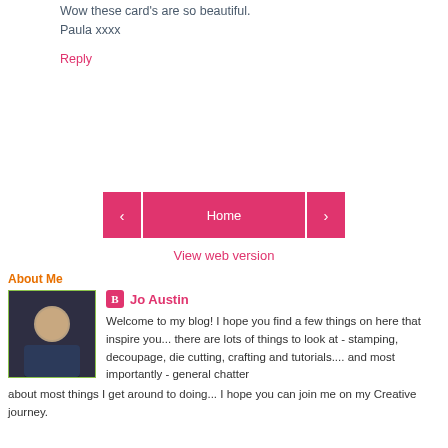Wow these card's are so beautiful.
Paula xxxx
Reply
< Home >
View web version
About Me
Jo Austin
Welcome to my blog! I hope you find a few things on here that inspire you... there are lots of things to look at - stamping, decoupage, die cutting, crafting and tutorials.... and most importantly - general chatter about most things I get around to doing... I hope you can join me on my Creative journey.